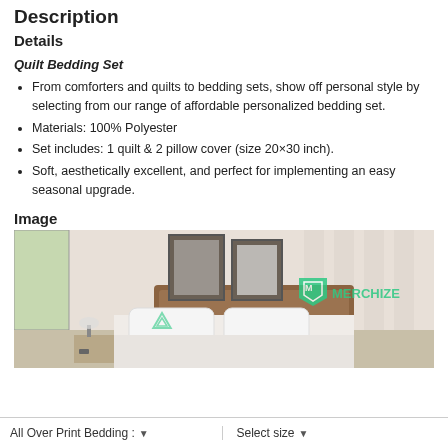Description
Details
Quilt Bedding Set
From comforters and quilts to bedding sets, show off personal style by selecting from our range of affordable personalized bedding set.
Materials: 100% Polyester
Set includes: 1 quilt & 2 pillow cover (size 20×30 inch).
Soft, aesthetically excellent, and perfect for implementing an easy seasonal upgrade.
Image
[Figure (photo): Bedroom scene showing a bed with white pillows and quilt, wooden headboard, framed art on wall, with Merchize logo watermark visible]
All Over Print Bedding : ▼   Select size ▼